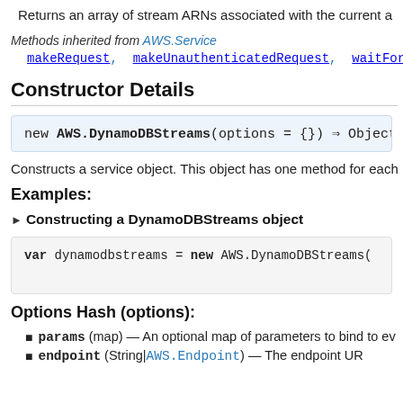Returns an array of stream ARNs associated with the current a...
Methods inherited from AWS.Service
makeRequest, makeUnauthenticatedRequest, waitFor,
Constructor Details
new AWS.DynamoDBStreams(options = {}) => Object
Constructs a service object. This object has one method for each...
Examples:
▶ Constructing a DynamoDBStreams object
var dynamodbstreams = new AWS.DynamoDBStreams(
Options Hash (options):
params (map) — An optional map of parameters to bind to ev...
endpoint (String|AWS.Endpoint) — The endpoint URI...